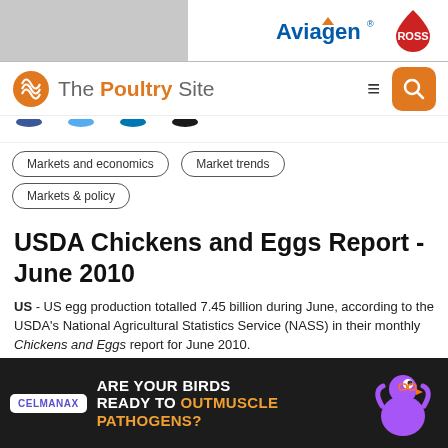[Figure (logo): Aviagen and ROSS brand banner advertisement at top of page]
[Figure (logo): The Poultry Site website navigation header with logo, hamburger menu icon, and search button]
[Figure (illustration): Social media icon row showing Facebook, Twitter, LinkedIn, and another platform icons]
Markets and economics
Market trends
Markets & policy
USDA Chickens and Eggs Report - June 2010
US - US egg production totalled 7.45 billion during June, according to the USDA's National Agricultural Statistics Service (NASS) in their monthly Chickens and Eggs report for June 2010.
[Figure (illustration): Celmanax advertisement: ARE YOUR BIRDS READY TO OUTMUSCLE PATHOGENS? with cartoon chicken graphic]